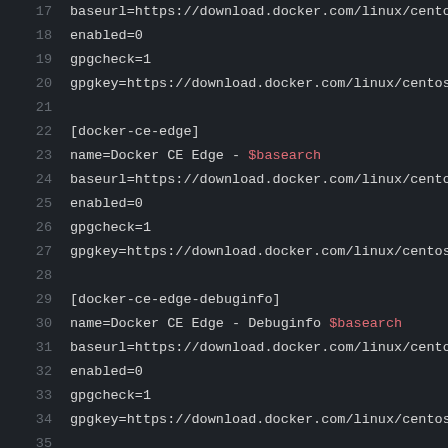17  baseurl=https://download.docker.com/linux/centos/7/source
18  enabled=0
19  gpgcheck=1
20  gpgkey=https://download.docker.com/linux/centos/gpg
21
22  [docker-ce-edge]
23  name=Docker CE Edge - $basearch
24  baseurl=https://download.docker.com/linux/centos/7/$base
25  enabled=0
26  gpgcheck=1
27  gpgkey=https://download.docker.com/linux/centos/gpg
28
29  [docker-ce-edge-debuginfo]
30  name=Docker CE Edge - Debuginfo $basearch
31  baseurl=https://download.docker.com/linux/centos/7/debug
32  enabled=0
33  gpgcheck=1
34  gpgkey=https://download.docker.com/linux/centos/gpg
35
36  [docker-ce-edge-source]